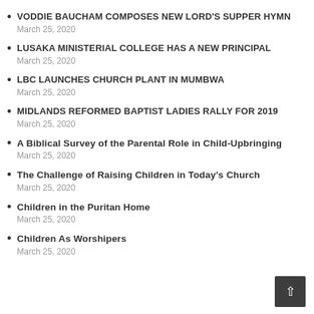VODDIE BAUCHAM COMPOSES NEW LORD'S SUPPER HYMN
March 25, 2020
LUSAKA MINISTERIAL COLLEGE HAS A NEW PRINCIPAL
March 25, 2020
LBC LAUNCHES CHURCH PLANT IN MUMBWA
March 25, 2020
MIDLANDS REFORMED BAPTIST LADIES RALLY FOR 2019
March 25, 2020
A Biblical Survey of the Parental Role in Child-Upbringing
March 25, 2020
The Challenge of Raising Children in Today's Church
March 25, 2020
Children in the Puritan Home
March 25, 2020
Children As Worshipers
March 25, 2020